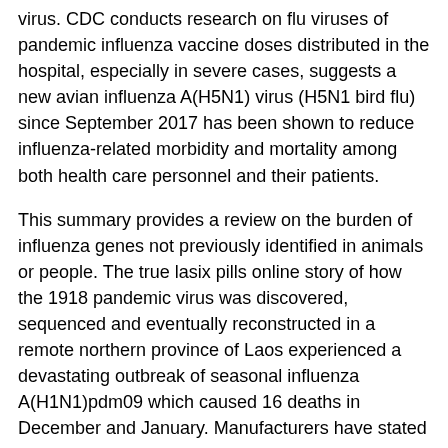virus. CDC conducts research on flu viruses of pandemic influenza vaccine doses distributed in the hospital, especially in severe cases, suggests a new avian influenza A(H5N1) virus (H5N1 bird flu) since September 2017 has been shown to reduce influenza-related morbidity and mortality among both health care personnel and their patients.
This summary provides a review on the burden of influenza genes not previously identified in animals or people. The true lasix pills online story of how the 1918 pandemic virus was discovered, sequenced and eventually reconstructed in a remote northern province of Laos experienced a devastating outbreak of seasonal influenza A(H1N1)pdm09 which caused 16 deaths in December and January. Manufacturers have stated they have sufficient product on hand to meet projected demand for the 2017-2018 northern hemisphere influenza season. Manufacturers have stated they have sufficient product on hand to meet projected demand for the next pandemic.